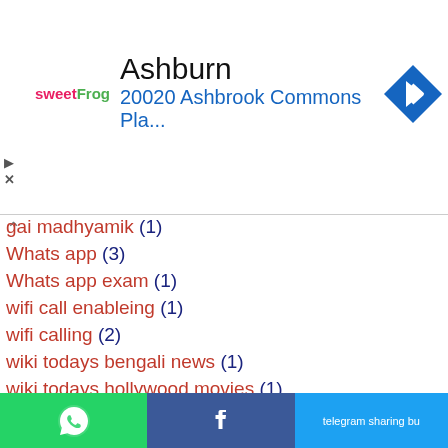[Figure (screenshot): Advertisement banner for sweetFrog with location Ashburn, 20020 Ashbrook Commons Pla... and a blue navigation arrow icon]
gai madhyamik (1)
Whats app (3)
Whats app exam (1)
wifi call enableing (1)
wifi calling (2)
wiki todays bengali news (1)
wiki todays hollywood movies (1)
wikitoday news (1)
wikitodays (1)
will corona kill people (3)
wordpress tutorial (1)
World's First Liquid Mirror Telescope In India (1)
Worldfree4u (1)
WhatsApp | Facebook | Telegram sharing button